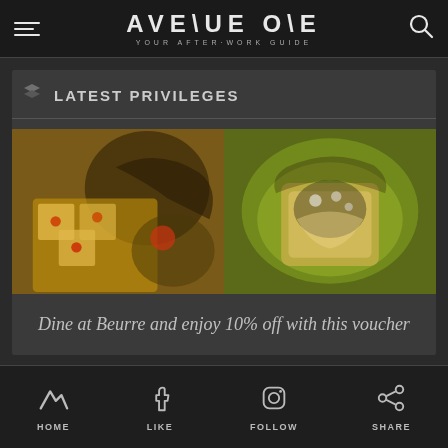AVENUE ONE — YOUR AFTER-WORK GUIDE
LATEST PRIVILEGES
[Figure (photo): Two food photos side by side: left shows decorative pastry tarts with fruit toppings on a dark plate, right shows a green-sauce dish with garnish]
Dine at Beurre and enjoy 10% off with this voucher
HOME | LIKE | FOLLOW | SHARE